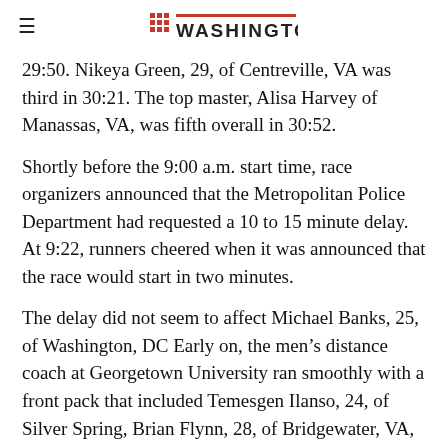WASHINGTON (logo)
29:50. Nikeya Green, 29, of Centreville, VA was third in 30:21. The top master, Alisa Harvey of Manassas, VA, was fifth overall in 30:52.
Shortly before the 9:00 a.m. start time, race organizers announced that the Metropolitan Police Department had requested a 10 to 15 minute delay. At 9:22, runners cheered when it was announced that the race would start in two minutes.
The delay did not seem to affect Michael Banks, 25, of Washington, DC Early on, the men’s distance coach at Georgetown University ran smoothly with a front pack that included Temesgen Ilanso, 24, of Silver Spring, Brian Flynn, 28, of Bridgewater, VA, Seife Geletu, 29, of Washington, DC, and Esmetu Tilahun, 31, of Washington, DC.